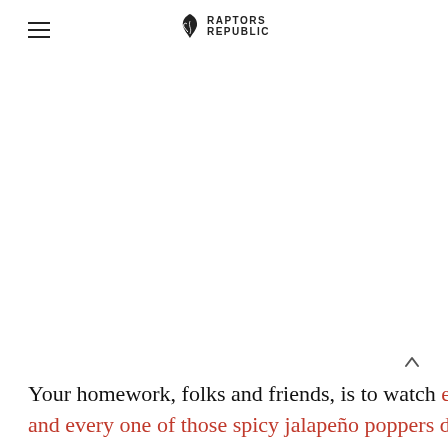RAPTORS REPUBLIC
Your homework, folks and friends, is to watch each and every one of those spicy jalapeño poppers drop